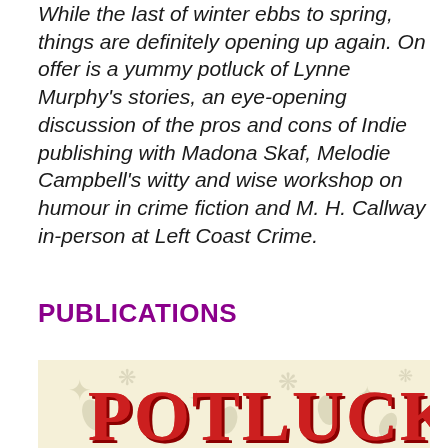While the last of winter ebbs to spring, things are definitely opening up again. On offer is a yummy potluck of Lynne Murphy's stories, an eye-opening discussion of the pros and cons of Indie publishing with Madona Skaf, Melodie Campbell's witty and wise workshop on humour in crime fiction and M. H. Callway in-person at Left Coast Crime.
PUBLICATIONS
[Figure (illustration): Book cover or logo image showing the word POTLUCK in large red bold decorative letters on a cream/tan background with maple leaf watermarks]